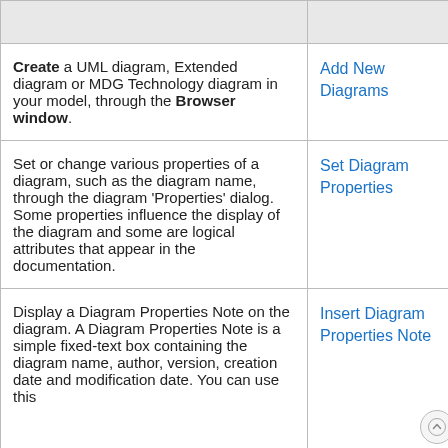| Description | Link |
| --- | --- |
| Create a UML diagram, Extended diagram or MDG Technology diagram in your model, through the Browser window. | Add New Diagrams |
| Set or change various properties of a diagram, such as the diagram name, through the diagram 'Properties' dialog. Some properties influence the display of the diagram and some are logical attributes that appear in the documentation. | Set Diagram Properties |
| Display a Diagram Properties Note on the diagram. A Diagram Properties Note is a simple fixed-text box containing the diagram name, author, version, creation date and modification date. You can use this... | Insert Diagram Properties Note |